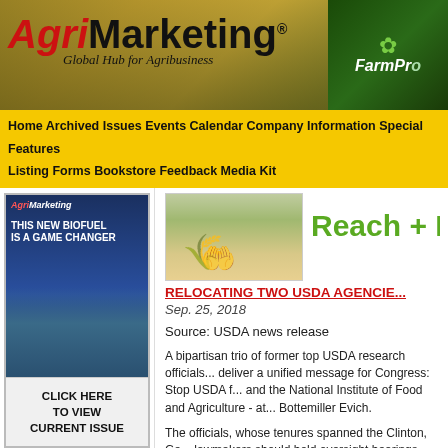[Figure (logo): AgriMarketing logo with tagline 'Global Hub for Agribusiness' and FarmPro badge]
Home | Archived Issues | Events Calendar | Company Information | Special Features | Listing Forms | Bookstore | Feedback | Media Kit
[Figure (photo): Hand holding grain in a field]
[Figure (other): Reach + Re... text (green promotional text, partially visible)]
RELOCATING TWO USDA AGENCIE...
Sep. 25, 2018
Source: USDA news release
A bipartisan trio of former top USDA research officials... deliver a unified message for Congress: Stop USDA f... and the National Institute of Food and Agriculture - at... Bottemiller Evich.
The officials, whose tenures spanned the Clinton, Ge... lawmakers should hold oversight hearings and halt th... conducted by an outside entity, such as the GAO. The...
[Figure (other): AgriMarketing magazine cover - THIS NEW BIOFUEL IS A GAME CHANGER]
CLICK HERE TO VIEW CURRENT ISSUE
[Figure (other): AgriMarketing Renew Your Subscription advertisement]